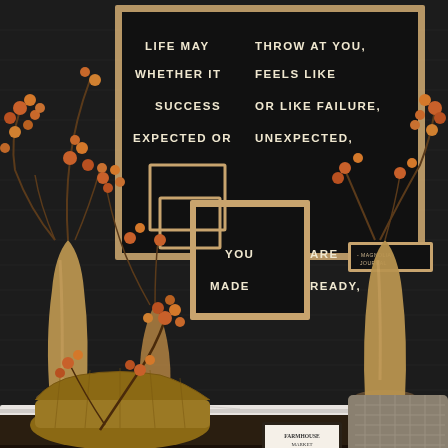[Figure (photo): Interior home decor display showing a white distressed fireplace mantel surround against dark shiplap walls. On the mantel shelf above sit tan/gold ceramic vase bottles with fall berry branches. Behind is a large black letter board with a Magnolia Journal quote reading: LIFE MAY THROW AT YOU, WHETHER IT FEELS LIKE SUCCESS OR LIKE FAILURE, EXPECTED OR UNEXPECTED, YOU ARE MADE READY. - MAGNOLIA JOURNAL. In front of the mantel are woven baskets, a textured pillow/throw, orange fall berry branches, and a small framed sign. The overall palette is dark charcoal, warm tan, and weathered white.]